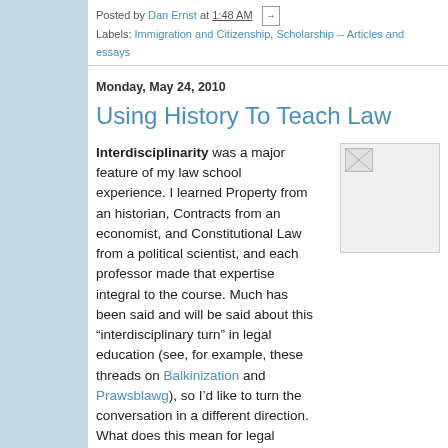Posted by Dan Ernst at 1:48 AM
Labels: Immigration and Citizenship, Scholarship -- Articles and essays
Monday, May 24, 2010
Using History To Teach Law
Interdisciplinarity was a major feature of my law school experience. I learned Property from an historian, Contracts from an economist, and Constitutional Law from a political scientist, and each professor made that expertise integral to the course. Much has been said and will be said about this “interdisciplinary turn” in legal education (see, for example, these threads on Balkinization and Prawsblawg), so I’d like to turn the conversation in a different direction. What does this mean for legal historians, present and future?
[Figure (other): Small image thumbnail, appears broken or loading]
For those considering the law school world, one question i not always a realistic possibility, and in almost all cases, will no teaching requirements. So what other legal subjects lend the approach? My informal research suggests that among large fir and Constitutional Law are, perhaps, the most...